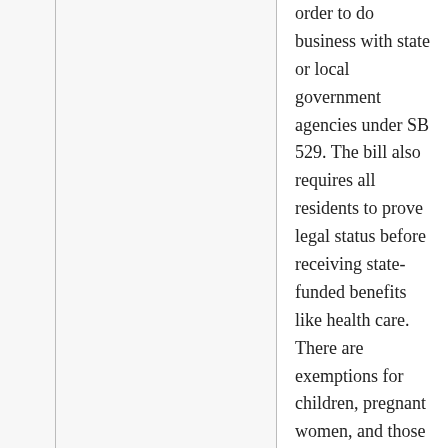order to do business with state or local government agencies under SB 529. The bill also requires all residents to prove legal status before receiving state-funded benefits like health care. There are exemptions for children, pregnant women, and those with communicable diseases, however.
Georgia legislators will also adhere to federal law requiring them to provide all residents access to hospital emergency rooms. Those who are able to pay the full amount of services without subsidized aid will not be required to show identification. In addition, local law enforcement officials will be authorized to